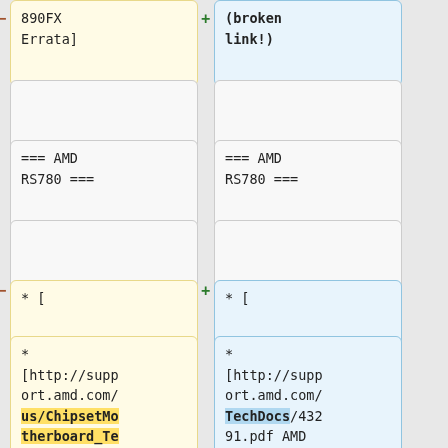[Figure (screenshot): Diff view showing two columns of wiki markup changes. Left (yellow/removed) and right (blue/added) columns show diff boxes with text content including '890FX Errata]', empty boxes, '=== AMD RS780 ===', '* [', and a long URL entry for AMD 780G Family Register Programming Requirements.]
890FX Errata]
(broken link!)
=== AMD RS780 ===
=== AMD RS780 ===
* [
* [
* [http://support.amd.com/us/ChipsetMotherboard_TechDocs/43291.pdf AMD 780G Family Register Programming Requirements
* [http://support.amd.com/TechDocs/43291.pdf AMD 780G Family Register Programming Requirements] (RPR)